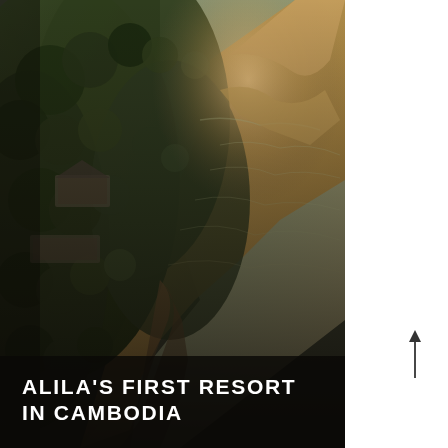[Figure (photo): Aerial drone photograph of a tropical coastal resort area in Cambodia. Dense green jungle and trees cover a peninsula on the left. Golden sandy beaches and rocky coastline meet calm ocean waters on the right. Resort buildings are partially visible under the forest canopy. Warm golden sunset light illuminates the scene.]
ALILA'S FIRST RESORT IN CAMBODIA